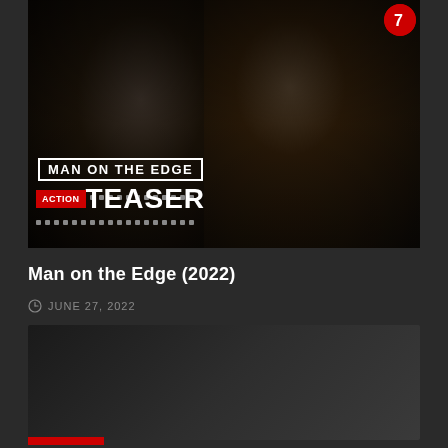[Figure (screenshot): Movie thumbnail for Man on the Edge (2022) showing two Asian men in dark suits in a dramatic, dark-toned image. Overlaid text reads MAN ON THE EDGE in a white-bordered box, and TEASER with ACTION badge in red below a film strip decoration.]
Man on the Edge (2022)
JUNE 27, 2022
[Figure (screenshot): Second video thumbnail, dark gray gradient background, partially visible with a red bar at the bottom.]